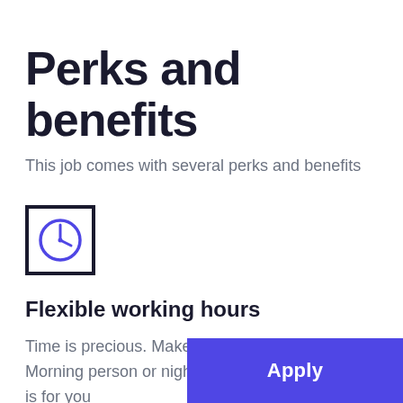Perks and benefits
This job comes with several perks and benefits
[Figure (illustration): Clock icon inside a square border, drawn in blue/indigo color]
Flexible working hours
Time is precious. Make it count. Morning person or night owl, this job is for you